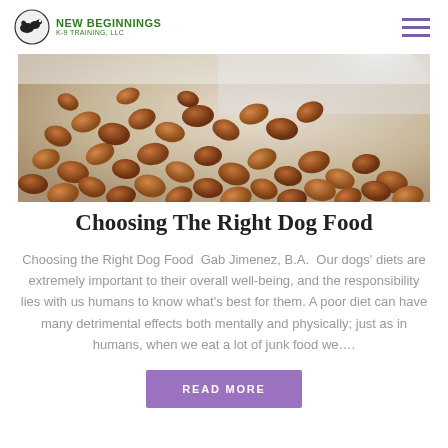NEW BEGINNINGS K-9 TRAINING, LLC
[Figure (photo): Close-up photo of brown dry dog food kibble pieces scattered on a white/light surface, with a spoon or scoop partially visible]
Choosing The Right Dog Food
Choosing the Right Dog Food  Gab Jimenez, B.A.  Our dogs' diets are extremely important to their overall well-being, and the responsibility lies with us humans to know what's best for them. A poor diet can have many detrimental effects both mentally and physically; just as in humans, when we eat a lot of junk food we….
READ MORE